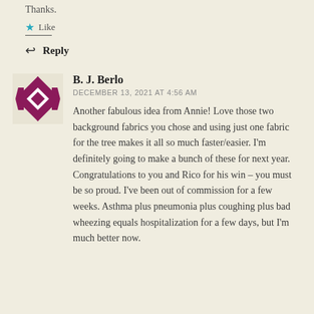Thanks.
★ Like
↩ Reply
B. J. Berlo
DECEMBER 13, 2021 AT 4:56 AM
[Figure (illustration): Purple/magenta quilt block avatar icon — geometric diamond and arrow pattern]
Another fabulous idea from Annie! Love those two background fabrics you chose and using just one fabric for the tree makes it all so much faster/easier. I'm definitely going to make a bunch of these for next year. Congratulations to you and Rico for his win – you must be so proud. I've been out of commission for a few weeks. Asthma plus pneumonia plus coughing plus bad wheezing equals hospitalization for a few days, but I'm much better now.